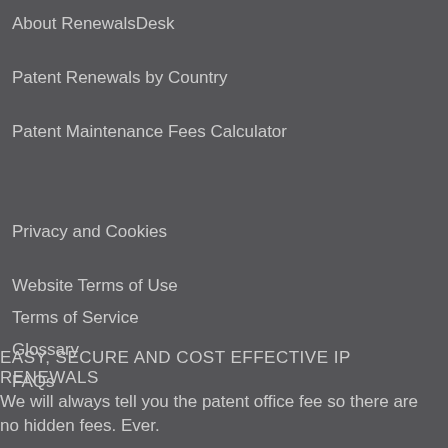About RenewalsDesk
Patent Renewals by Country
Patent Maintenance Fees Calculator
Privacy and Cookies
Website Terms of Use
Terms of Service
Glossary
FAQs
EASY, SECURE AND COST EFFECTIVE IP RENEWALS
We will always tell you the patent office fee so there are no hidden fees. Ever.